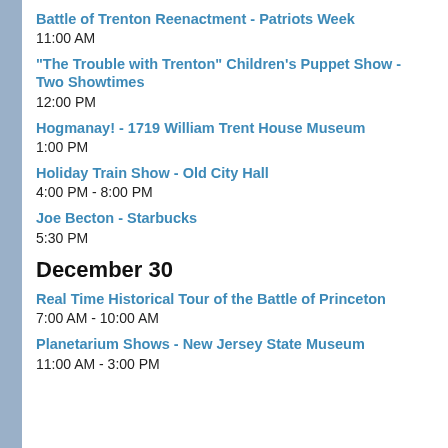Battle of Trenton Reenactment - Patriots Week
11:00 AM
“The Trouble with Trenton” Children’s Puppet Show - Two Showtimes
12:00 PM
Hogmanay! - 1719 William Trent House Museum
1:00 PM
Holiday Train Show - Old City Hall
4:00 PM - 8:00 PM
Joe Becton - Starbucks
5:30 PM
December 30
Real Time Historical Tour of the Battle of Princeton
7:00 AM - 10:00 AM
Planetarium Shows - New Jersey State Museum
11:00 AM - 3:00 PM